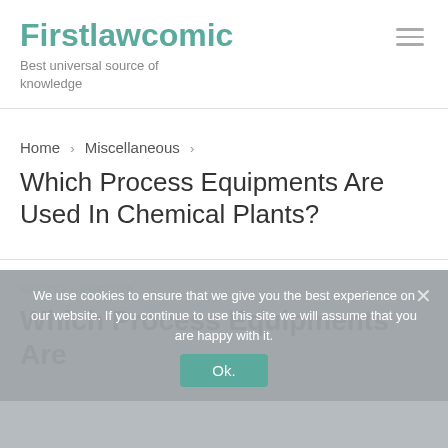Firstlawcomic
Best universal source of knowledge
Home > Miscellaneous
Which Process Equipments Are Used In Chemical Plants?
We use cookies to ensure that we give you the best experience on our website. If you continue to use this site we will assume that you are happy with it.
MISCELLANEOUS
Which Process Equipments Are